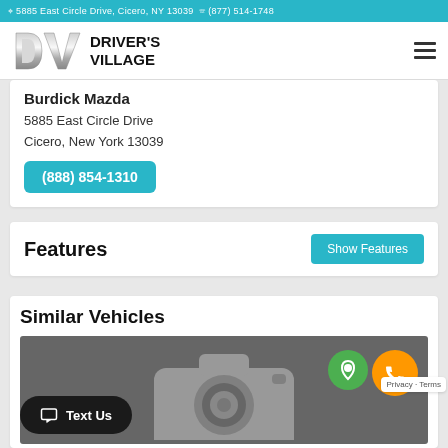5885 East Circle Drive, Cicero, NY 13039  (877) 514-1748
[Figure (logo): Driver's Village DV logo with stylized silver DV letters and bold black text]
Burdick Mazda
5885 East Circle Drive
Cicero, New York 13039
(888) 854-1310
Features
Similar Vehicles
[Figure (photo): Gray placeholder image with camera icon representing a vehicle photo]